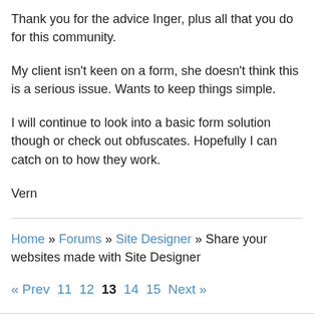Thank you for the advice Inger, plus all that you do for this community.
My client isn't keen on a form, she doesn't think this is a serious issue. Wants to keep things simple.
I will continue to look into a basic form solution though or check out obfuscates. Hopefully I can catch on to how they work.
Vern
Home » Forums » Site Designer » Share your websites made with Site Designer
« Prev  11  12  13  14  15  Next »